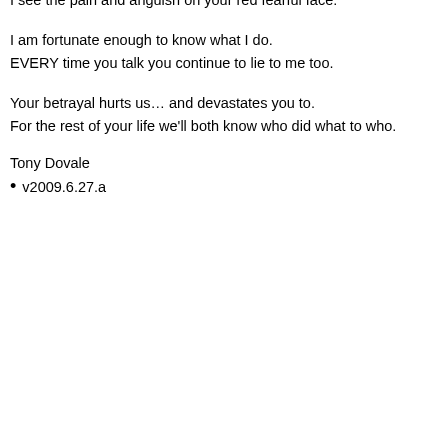your deception is out, in the bright clear and blue.
What will you choose, who will you allow to reign.
Will you reclaim your Soul, or will satan's betrayer remain?
Where ever you go, there your betrayal will be.
Till death you do save – maybe then, you can be free.
I pray that you can find your way back from your deept dark space.
I see the pain and anguish on your red fearful face.
I am fortunate enough to know what I do.
EVERY time you talk you continue to lie to me too.
Your betrayal hurts us… and devastates you to.
For the rest of your life we'll both know who did what to who.
Tony Dovale
v2009.6.27.a